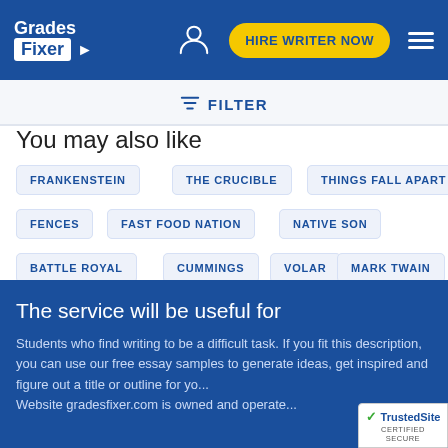Grades Fixer — HIRE WRITER NOW
FILTER
You may also like
FRANKENSTEIN
THE CRUCIBLE
THINGS FALL APART
FENCES
FAST FOOD NATION
NATIVE SON
BATTLE ROYAL
CUMMINGS
VOLAR
MARK TWAIN
The service will be useful for
Students who find writing to be a difficult task. If you fit this description, you can use our free essay samples to generate ideas, get inspired and figure out a title or outline for yo... Website gradesfixer.com is owned and operate...